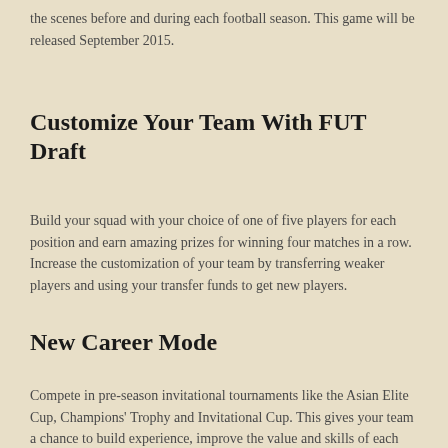the scenes before and during each football season. This game will be released September 2015.
Customize Your Team With FUT Draft
Build your squad with your choice of one of five players for each position and earn amazing prizes for winning four matches in a row. Increase the customization of your team by transferring weaker players and using your transfer funds to get new players.
New Career Mode
Compete in pre-season invitational tournaments like the Asian Elite Cup, Champions' Trophy and Invitational Cup. This gives your team a chance to build experience, improve the value and skills of each player, and develop winning tactics before the regular season starts. You also have a chance to train your team to improve player attributes with drills that could be used by real football teams. Increase the value of your players by training them regardless of whether they're your star players or rookies that you intend to trade